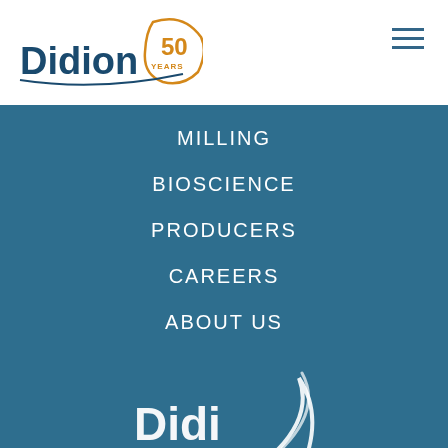Didion 50 Years logo with hamburger menu
MILLING
BIOSCIENCE
PRODUCERS
CAREERS
ABOUT US
CONNECT WITH US
[Figure (logo): Didion logo in white at bottom of page on teal background]